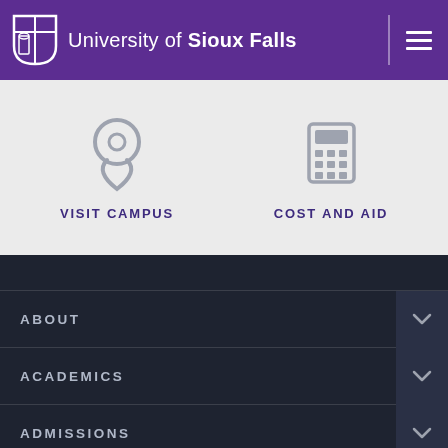University of Sioux Falls
[Figure (other): Visit Campus icon - location pin]
VISIT CAMPUS
[Figure (other): Cost and Aid icon - calculator]
COST AND AID
ABOUT
ACADEMICS
ADMISSIONS
CAMPUS LIFE
THE ARTS